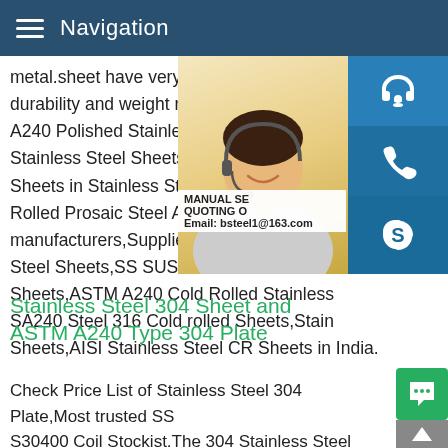Navigation
metal.sheet have very different uses,depe durability and weight requirements for diffe A240 Polished Stainless Steel Sheets sup Stainless Steel Sheets Manufacturer 2B F Sheets in Stainless Steel 304 SheetsSS 3 Rolled Prosaic Steel Alloys is one of the le manufacturers,Supplier and exporters of h Steel Sheets,SS SUS 304-2B Finish Shee Sheets,ASTM A240 Cold Rolled Stainless SA240 Steel 316 Cold rolled Sheets,Stain Sheets,AISI Stainless Steel CR Sheets in India.
[Figure (photo): Customer service representative woman with headset, alongside blue contact icons (headset, phone, Skype) and overlay text: MANUAL SE... QUOTING O... Email: bsteel1@163.com]
Stainless Steel 304 Sheet and ASTM A240 Type 304 Plate
Check Price List of Stainless Steel 304 Plate,Most trusted SS S30400 Coil Stockist.The 304 Stainless Steel Hot Rolled Plate